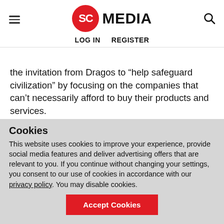SC MEDIA | LOG IN  REGISTER
the invitation from Dragos to “help safeguard civilization” by focusing on the companies that can’t necessarily afford to buy their products and services.
In addition to a library of OT security guidance, those that register for the service will be able to access in the first month a 14-question, cybersecurity maturity self-
Cookies
This website uses cookies to improve your experience, provide social media features and deliver advertising offers that are relevant to you. If you continue without changing your settings, you consent to our use of cookies in accordance with our privacy policy. You may disable cookies.
Accept Cookies